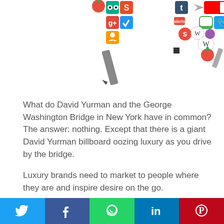[Figure (illustration): Three groups of app/social media icons arranged in a row at the top of the page, including icons for various apps like YouTube, Google+, TripAdvisor, Tumblr, and others.]
What do David Yurman and the George Washington Bridge in New York have in common? The answer: nothing. Except that there is a giant David Yurman billboard oozing luxury as you drive by the bridge.
Luxury brands need to market to people where they are and inspire desire on the go.
Driver of traffic
Millennials and Gen X-ers are obsessed with mobile devices and become dysfunctional without
Twitter | Facebook | WhatsApp | LinkedIn | Pinterest